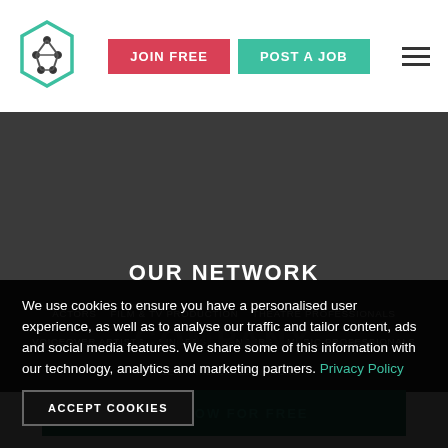[Figure (logo): Hexagonal logo with molecular/network design in dark and teal colors]
JOIN FREE
POST A JOB
OUR NETWORK
ACTORS   FILM & TV PRODUCTION   THEATRE PROFESSIONALS
VOICEOVER ARTISTS   SINGERS   DANCERS   MUSIC PROFESSIONALS
TALENT AND ENTERTAINERS
We use cookies to ensure you have a personalised user experience, as well as to analyse our traffic and tailor content, ads and social media features. We share some of this information with our technology, analytics and marketing partners. Privacy Policy
ACCEPT COOKIES